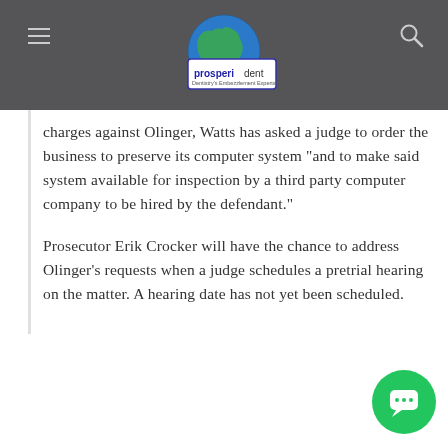prosperident — Dentistry's Embezzlement Experts
charges against Olinger, Watts has asked a judge to order the business to preserve its computer system “and to make said system available for inspection by a third party computer company to be hired by the defendant.”
Prosecutor Erik Crocker will have the chance to address Olinger’s requests when a judge schedules a pretrial hearing on the matter. A hearing date has not yet been scheduled.